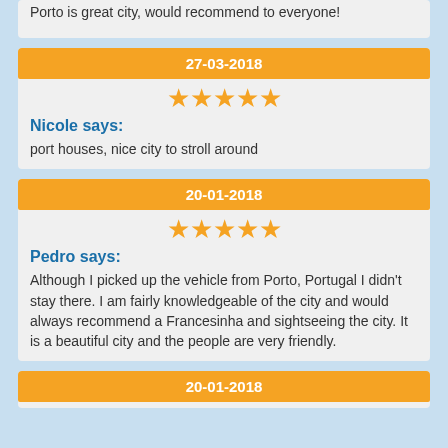Porto is great city, would recommend to everyone!
27-03-2018
[Figure (other): 5 orange stars rating]
Nicole says:
port houses, nice city to stroll around
20-01-2018
[Figure (other): 5 orange stars rating]
Pedro says:
Although I picked up the vehicle from Porto, Portugal I didn't stay there. I am fairly knowledgeable of the city and would always recommend a Francesinha and sightseeing the city. It is a beautiful city and the people are very friendly.
20-01-2018